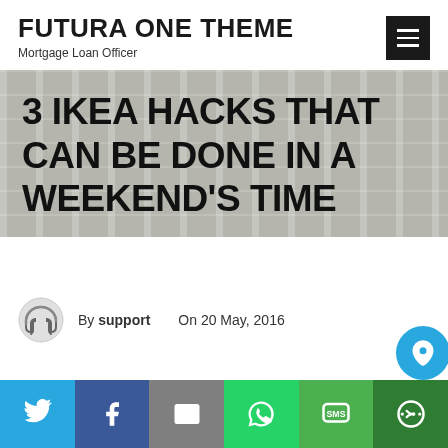FUTURA ONE THEME — Mortgage Loan Officer
3 IKEA HACKS THAT CAN BE DONE IN A WEEKEND'S TIME
By support   On 20 May, 2016